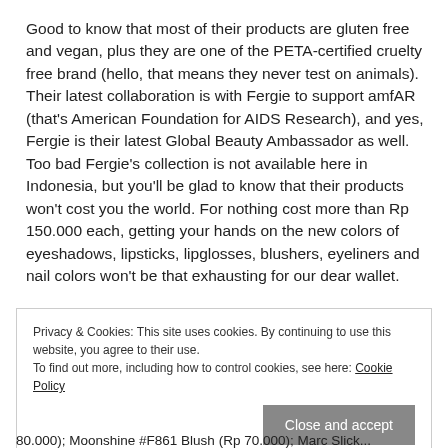Good to know that most of their products are gluten free and vegan, plus they are one of the PETA-certified cruelty free brand (hello, that means they never test on animals). Their latest collaboration is with Fergie to support amfAR (that's American Foundation for AIDS Research), and yes, Fergie is their latest Global Beauty Ambassador as well. Too bad Fergie's collection is not available here in Indonesia, but you'll be glad to know that their products won't cost you the world. For nothing cost more than Rp 150.000 each, getting your hands on the new colors of eyeshadows, lipsticks, lipglosses, blushers, eyeliners and nail colors won't be that exhausting for our dear wallet.
Privacy & Cookies: This site uses cookies. By continuing to use this website, you agree to their use. To find out more, including how to control cookies, see here: Cookie Policy
Close and accept
80.000); Moonshine #F861 Blush (Rp 70.000); Marc Slick...